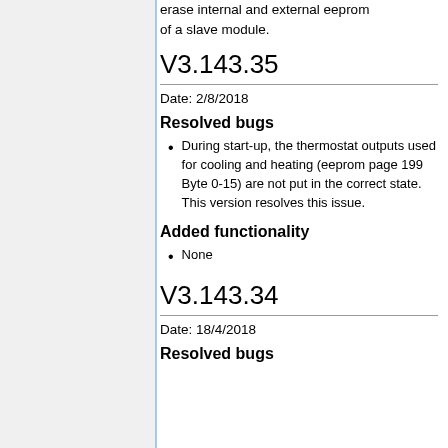erase internal and external eeprom of a slave module.
V3.143.35
Date: 2/8/2018
Resolved bugs
During start-up, the thermostat outputs used for cooling and heating (eeprom page 199 Byte 0-15) are not put in the correct state. This version resolves this issue.
Added functionality
None
V3.143.34
Date: 18/4/2018
Resolved bugs